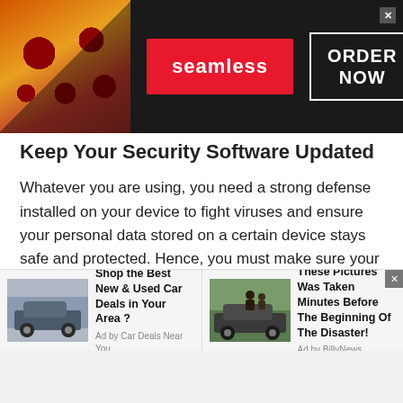[Figure (screenshot): Seamless food delivery advertisement banner with pizza image on left, red Seamless logo in center, and ORDER NOW button on right with black background]
Keep Your Security Software Updated
Whatever you are using, you need a strong defense installed on your device to fight viruses and ensure your personal data stored on a certain device stays safe and protected. Hence, you must make sure your software or security features are always up to date. Do not delay installing the latest versions because these will be your main defense against any virus that you might encounter while using a platform for Georgian Talk & Text .
[Figure (screenshot): Two bottom advertisement boxes: 'Shop the Best New & Used Car Deals in Your Area ?' from Car Deals Near You, and 'These Pictures Was Taken Minutes Before The Beginning Of The Disaster!' from BillyNews]